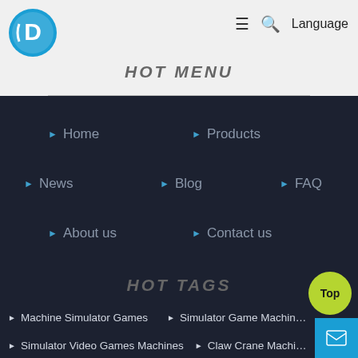[Figure (logo): Blue circular logo with stylized D symbol]
HOT MENU
Home
Products
News
Blog
FAQ
About us
Contact us
HOT TAGS
Machine Simulator Games
Simulator Game Machine
Simulator Video Games Machines
Claw Crane Machine